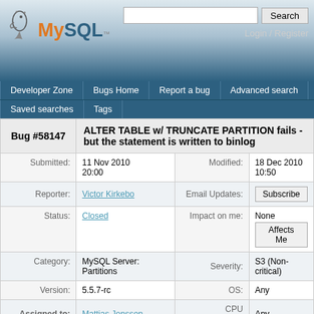[Figure (logo): MySQL dolphin logo with orange MySQL text]
Login / Register
Developer Zone | Bugs Home | Report a bug | Advanced search | Saved searches | Tags
| Bug #58147 | ALTER TABLE w/ TRUNCATE PARTITION fails - but the statement is written to binlog |
| --- | --- |
| Submitted: | 11 Nov 2010 20:00 | Modified: | 18 Dec 2010 10:50 |
| Reporter: | Victor Kirkebo | Email Updates: | Subscribe |
| Status: | Closed | Impact on me: | None / Affects Me |
| Category: | MySQL Server: Partitions | Severity: | S3 (Non-critical) |
| Version: | 5.5.7-rc | OS: | Any |
| Assigned to: | Mattias Jonsson | CPU Architecture: | Any |
View | Add Comment | Files | Developer | Edit Submission | View Progress Log | Contributions
[11 Nov 2010 20:00] Victor Kirkebo